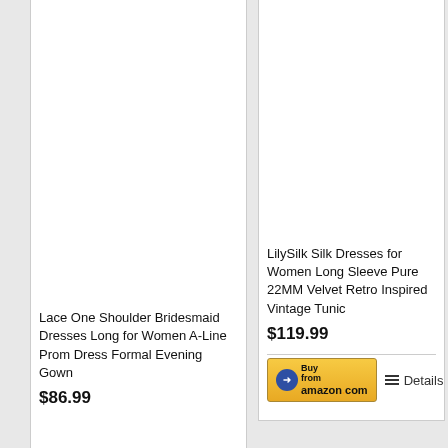[Figure (photo): Product image placeholder for Lace One Shoulder Bridesmaid Dress (white/blank area)]
Lace One Shoulder Bridesmaid Dresses Long for Women A-Line Prom Dress Formal Evening Gown
$86.99
[Figure (photo): Product image placeholder for LilySilk Silk Dress (white/blank area)]
LilySilk Silk Dresses for Women Long Sleeve Pure 22MM Velvet Retro Inspired Vintage Tunic
$119.99
[Figure (screenshot): Buy from Amazon.com button]
Details